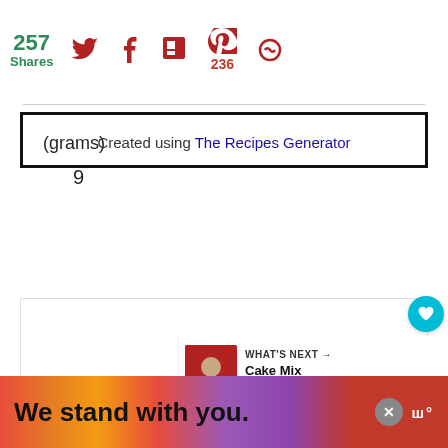257 Shares
(grams)
9
Created using The Recipes Generator
[Figure (screenshot): Lower section showing a recipe blog card with green and red color blocks and a 'What's Cookin' logo watermark]
WHAT'S NEXT → Cake Mix Chocolate...
We stand with you.